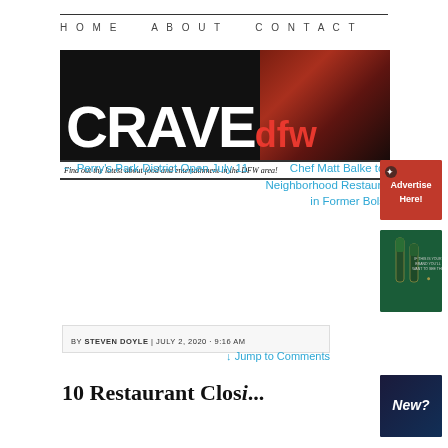HOME   ABOUT   CONTACT
[Figure (logo): CRAVE dfw banner logo with dark background and photo, tagline: Find out the latest about food and entertainment in the DFW area!]
← Perry's Park District Open July 11
Chef Matt Balke to Open New Neighborhood Restaurant, Encina, in Former Bolsa Space →
[Figure (illustration): Red Advertise Here! advertisement button with star icon]
[Figure (photo): Green background whiskey bottle advertisement]
BY STEVEN DOYLE | JULY 2, 2020 · 9:16 AM
↓ Jump to Comments
10 Restaurant Clos...
[Figure (photo): Dark blue/purple advertisement image with New? text]